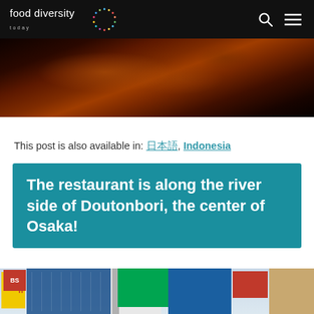food diversity today
[Figure (photo): Close-up dark food photo, likely grilled meat, on dark background]
This post is also available in: 日本語, Indonesia
The restaurant is along the river side of Doutonbori, the center of Osaka!
[Figure (photo): Street view of Doutonbori, Osaka, showing colorful commercial signs and billboards]